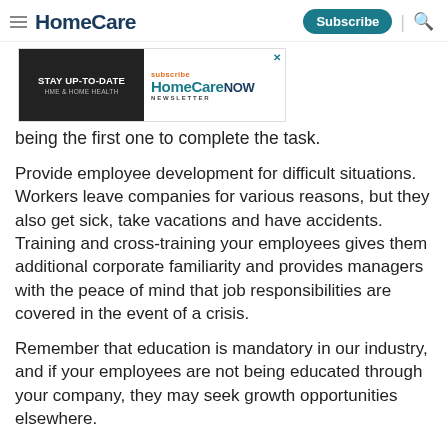HomeCare | Subscribe | Search
[Figure (other): Advertisement banner for HomeCare NOW Newsletter with 'STAY UP-TO-DATE HME & Home Health' text on dark background and subscribe link]
being the first one to complete the task.
Provide employee development for difficult situations. Workers leave companies for various reasons, but they also get sick, take vacations and have accidents. Training and cross-training your employees gives them additional corporate familiarity and provides managers with the peace of mind that job responsibilities are covered in the event of a crisis.
Remember that education is mandatory in our industry, and if your employees are not being educated through your company, they may seek growth opportunities elsewhere.